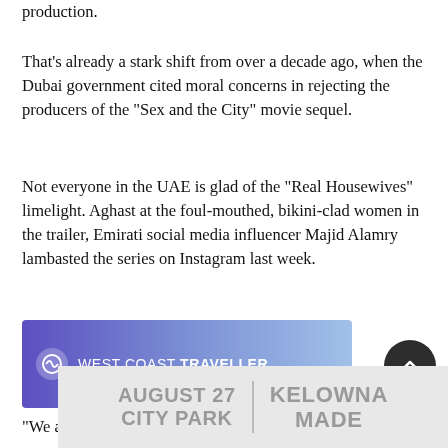production.
That's already a stark shift from over a decade ago, when the Dubai government cited moral concerns in rejecting the producers of the “Sex and the City” movie sequel.
Not everyone in the UAE is glad of the “Real Housewives” limelight. Aghast at the foul-mouthed, bikini-clad women in the trailer, Emirati social media influencer Majid Alamry lambasted the series on Instagram last week.
[Figure (logo): West Coast Traveller banner advertisement with gradient purple-blue background and logo]
“We are a tolerant country, but that does not mean that
[Figure (advertisement): August 27 City Park Kelowna Made event advertisement in grey tones]